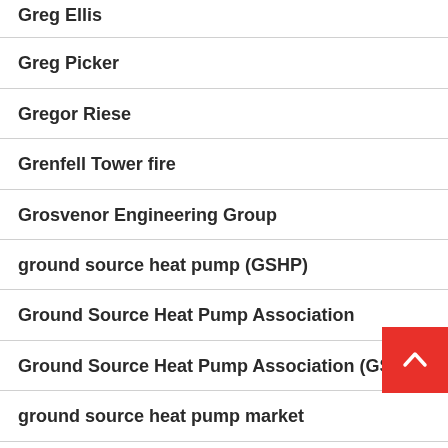Greg Ellis
Greg Picker
Gregor Riese
Grenfell Tower fire
Grosvenor Engineering Group
ground source heat pump (GSHP)
Ground Source Heat Pump Association
Ground Source Heat Pump Association (GSHP
ground source heat pump market